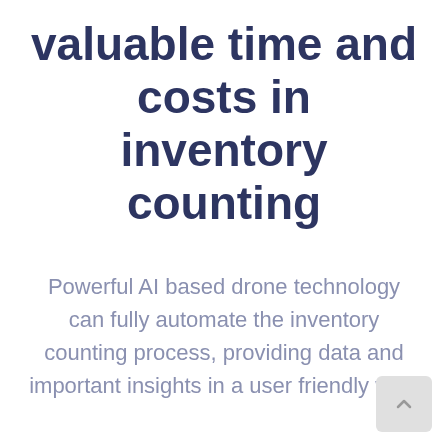valuable time and costs in inventory counting
Powerful AI based drone technology can fully automate the inventory counting process, providing data and important insights in a user friendly way.